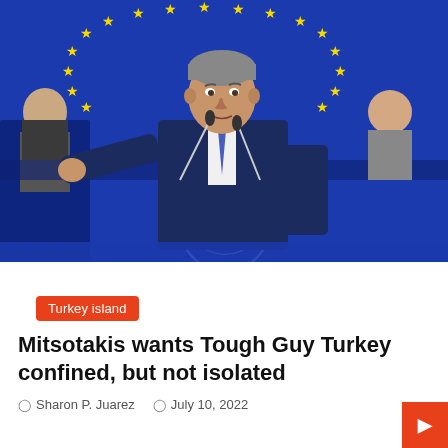[Figure (photo): A man in a dark navy suit with a blue tie speaks at a podium in front of a large European Union flag with blue background and yellow stars. Other people are seated in the background. Microphones are visible on the podium.]
Turkey island
Mitsotakis wants Tough Guy Turkey confined, but not isolated
Sharon P. Juarez   July 10, 2022